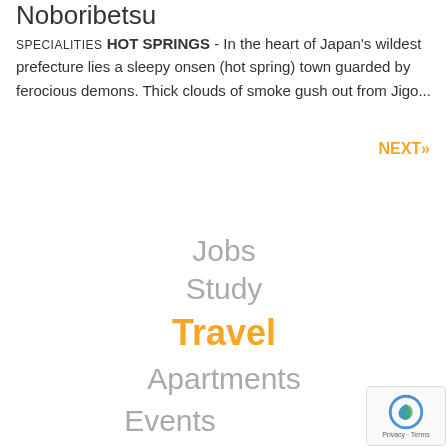Noboribetsu
SPECIALITIES HOT SPRINGS - In the heart of Japan's wildest prefecture lies a sleepy onsen (hot spring) town guarded by ferocious demons. Thick clouds of smoke gush out from Jigo...
NEXT»
Jobs
Study
Travel
Apartments
Events